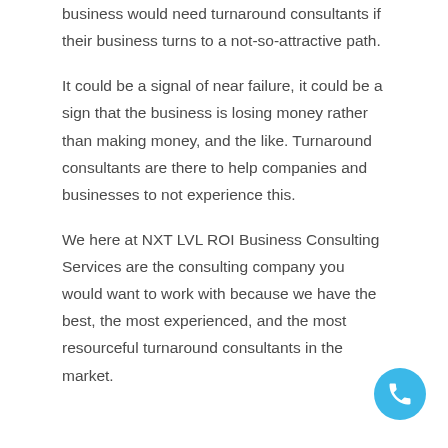business would need turnaround consultants if their business turns to a not-so-attractive path.
It could be a signal of near failure, it could be a sign that the business is losing money rather than making money, and the like. Turnaround consultants are there to help companies and businesses to not experience this.
We here at NXT LVL ROI Business Consulting Services are the consulting company you would want to work with because we have the best, the most experienced, and the most resourceful turnaround consultants in the market.